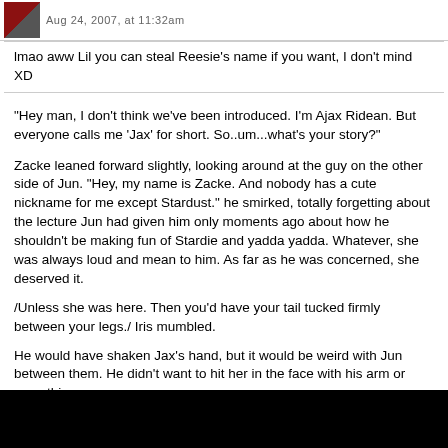Aug 24, 2007, at 11:32am
lmao aww Lil you can steal Reesie's name if you want, I don't mind XD
"Hey man, I don't think we've been introduced. I'm Ajax Ridean. But everyone calls me 'Jax' for short. So..um...what's your story?"
Zacke leaned forward slightly, looking around at the guy on the other side of Jun. "Hey, my name is Zacke. And nobody has a cute nickname for me except Stardust." he smirked, totally forgetting about the lecture Jun had given him only moments ago about how he shouldn't be making fun of Stardie and yadda yadda. Whatever, she was always loud and mean to him. As far as he was concerned, she deserved it.
/Unless she was here. Then you'd have your tail tucked firmly between your legs./ Iris mumbled.
He would have shaken Jax's hand, but it would be weird with Jun between them. He didn't want to hit her in the face with his arm or something.
"Not much of a story to tell. I was on this mission up until the Ruby, which is I guess right about the time you joined. My sister died... so yeah.